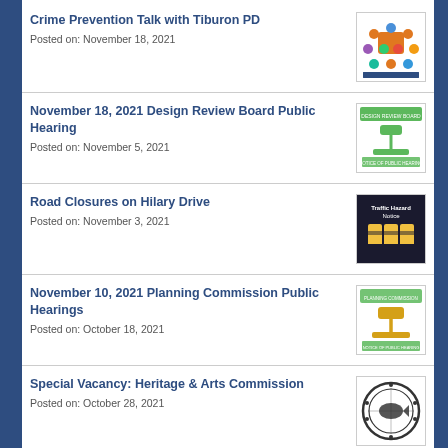Crime Prevention Talk with Tiburon PD
Posted on: November 18, 2021
[Figure (illustration): Thumbnail image for Crime Prevention Talk with Tiburon PD showing cartoon figures of people]
November 18, 2021 Design Review Board Public Hearing
Posted on: November 5, 2021
[Figure (illustration): Design Review Board notice thumbnail with gavel and notice of public hearing text]
Road Closures on Hilary Drive
Posted on: November 3, 2021
[Figure (illustration): Traffic Hazard Notice thumbnail with warning cone symbols on dark background]
November 10, 2021 Planning Commission Public Hearings
Posted on: October 18, 2021
[Figure (illustration): Planning Commission notice of public hearing thumbnail with gavel]
Special Vacancy: Heritage & Arts Commission
Posted on: October 28, 2021
[Figure (illustration): Heritage & Arts Commission seal/logo in black and white]
Upcoming Caltrans Roadwork on Tiburon